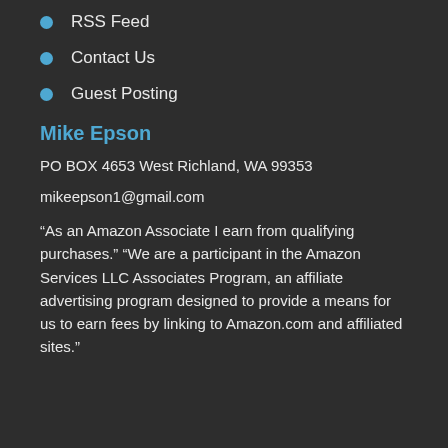RSS Feed
Contact Us
Guest Posting
Mike Epson
PO BOX 4653 West Richland, WA 99353
mikeepson1@gmail.com
“As an Amazon Associate I earn from qualifying purchases.” “We are a participant in the Amazon Services LLC Associates Program, an affiliate advertising program designed to provide a means for us to earn fees by linking to Amazon.com and affiliated sites.”